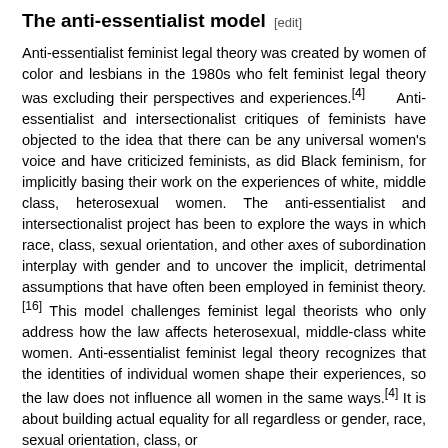The anti-essentialist model [edit]
Anti-essentialist feminist legal theory was created by women of color and lesbians in the 1980s who felt feminist legal theory was excluding their perspectives and experiences.[4] Anti-essentialist and intersectionalist critiques of feminists have objected to the idea that there can be any universal women's voice and have criticized feminists, as did Black feminism, for implicitly basing their work on the experiences of white, middle class, heterosexual women. The anti-essentialist and intersectionalist project has been to explore the ways in which race, class, sexual orientation, and other axes of subordination interplay with gender and to uncover the implicit, detrimental assumptions that have often been employed in feminist theory.[16] This model challenges feminist legal theorists who only address how the law affects heterosexual, middle-class white women. Anti-essentialist feminist legal theory recognizes that the identities of individual women shape their experiences, so the law does not influence all women in the same ways.[4] It is about building actual equality for all regardless or gender, race, sexual orientation, class, or